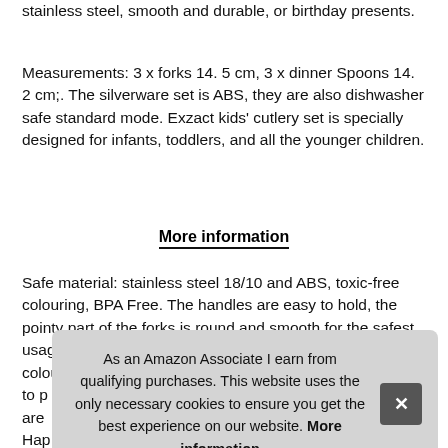stainless steel, smooth and durable, or birthday presents.
Measurements: 3 x forks 14. 5 cm, 3 x dinner Spoons 14. 2 cm;. The silverware set is ABS, they are also dishwasher safe standard mode. Exzact kids' cutlery set is specially designed for infants, toddlers, and all the younger children.
More information
Safe material: stainless steel 18/10 and ABS, toxic-free colouring, BPA Free. The handles are easy to hold, the pointy part of the forks is round and smooth for the safest usage. Watch them grab a dot spoon or a fork with colourful stars, the...
As an Amazon Associate I earn from qualifying purchases. This website uses the only necessary cookies to ensure you get the best experience on our website. More information